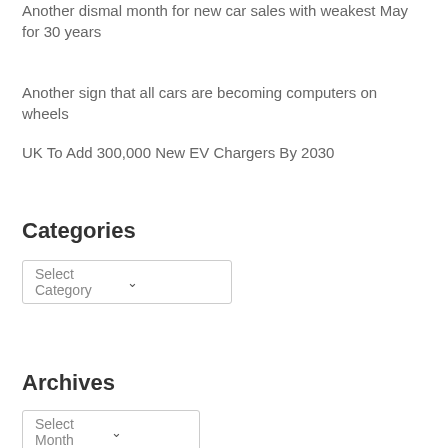Another dismal month for new car sales with weakest May for 30 years
Another sign that all cars are becoming computers on wheels
UK To Add 300,000 New EV Chargers By 2030
Categories
Select Category
Archives
Select Month